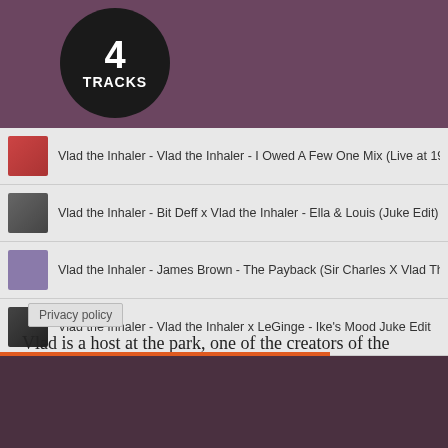[Figure (screenshot): Music player banner with dark circle badge showing '4 TRACKS' on a purple/mauve background]
Vlad the Inhaler - Vlad the Inhaler - I Owed A Few One Mix (Live at 1904 Mus...
Vlad the Inhaler - Bit Deff x Vlad the Inhaler - Ella & Louis (Juke Edit)
Vlad the Inhaler - James Brown - The Payback (Sir Charles X Vlad The Inha...
Vlad the Inhaler - Vlad the Inhaler x LeGinge - Ike's Mood Juke Edit
Privacy policy
Vlad is a host at the park, one of the creators of the Reunion event, and event planner at 1904 Music Hall in Jacksonville. Matthew is the founder of Bangarang Events, also in Jacksonville.
[Figure (screenshot): Music player widget with orange play button, showing Matthew Connor Latest tracks on dark background]